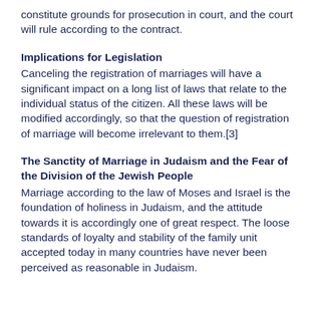constitute grounds for prosecution in court, and the court will rule according to the contract.
Implications for Legislation
Canceling the registration of marriages will have a significant impact on a long list of laws that relate to the individual status of the citizen. All these laws will be modified accordingly, so that the question of registration of marriage will become irrelevant to them.[3]
The Sanctity of Marriage in Judaism and the Fear of the Division of the Jewish People
Marriage according to the law of Moses and Israel is the foundation of holiness in Judaism, and the attitude towards it is accordingly one of great respect. The loose standards of loyalty and stability of the family unit accepted today in many countries have never been perceived as reasonable in Judaism.